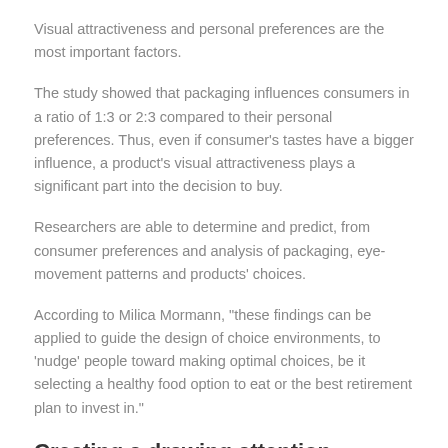Visual attractiveness and personal preferences are the most important factors.
The study showed that packaging influences consumers in a ratio of 1:3 or 2:3 compared to their personal preferences. Thus, even if consumer's tastes have a bigger influence, a product's visual attractiveness plays a significant part into the decision to buy.
Researchers are able to determine and predict, from consumer preferences and analysis of packaging, eye-movement patterns and products' choices.
According to Milica Mormann, "these findings can be applied to guide the design of choice environments, to 'nudge' people toward making optimal choices, be it selecting a healthy food option to eat or the best retirement plan to invest in."
Creating a drawing attention packaging to